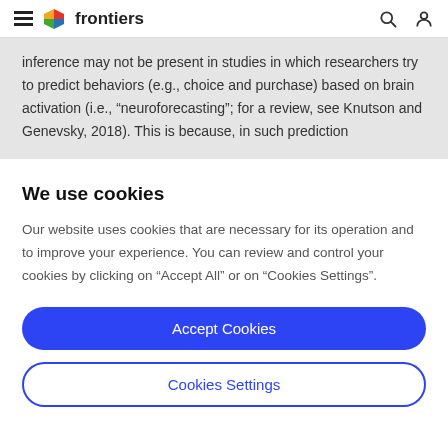frontiers
inference may not be present in studies in which researchers try to predict behaviors (e.g., choice and purchase) based on brain activation (i.e., “neuroforecasting”; for a review, see Knutson and Genevsky, 2018). This is because, in such prediction
We use cookies
Our website uses cookies that are necessary for its operation and to improve your experience. You can review and control your cookies by clicking on “Accept All” or on “Cookies Settings”.
Accept Cookies
Cookies Settings